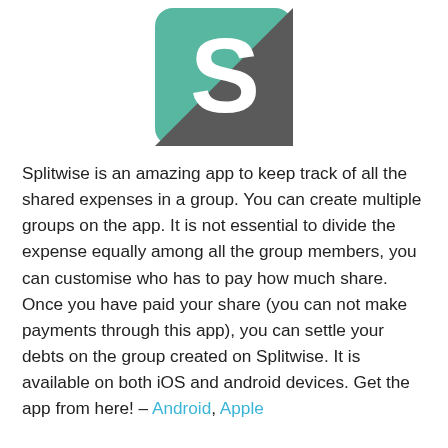[Figure (logo): Splitwise app logo: a rounded square with a teal upper-left triangle and dark grey lower-right triangle, with a large white 'S' letter centered on it.]
Splitwise is an amazing app to keep track of all the shared expenses in a group. You can create multiple groups on the app. It is not essential to divide the expense equally among all the group members, you can customise who has to pay how much share. Once you have paid your share (you can not make payments through this app), you can settle your debts on the group created on Splitwise. It is available on both iOS and android devices. Get the app from here! – Android, Apple